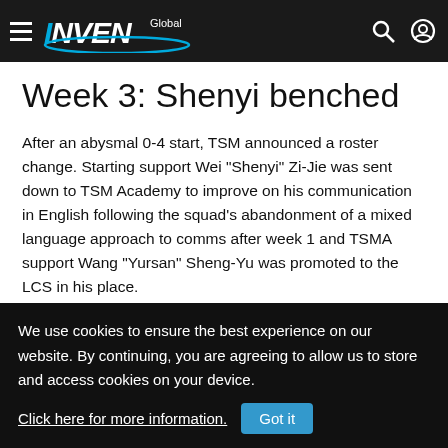INVEN Global
Week 3: Shenyi benched
After an abysmal 0-4 start, TSM announced a roster change. Starting support Wei "Shenyi" Zi-Jie was sent down to TSM Academy to improve on his communication in English following the squad's abandonment of a mixed language approach to comms after week 1 and TSMA support Wang "Yursan" Sheng-Yu was promoted to the LCS in his place.
We use cookies to ensure the best experience on our website. By continuing, you are agreeing to allow us to store and access cookies on your device. Click here for more information. Got it